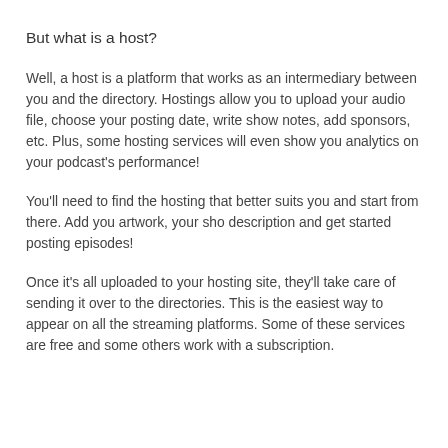But what is a host?
Well, a host is a platform that works as an intermediary between you and the directory. Hostings allow you to upload your audio file, choose your posting date, write show notes, add sponsors, etc. Plus, some hosting services will even show you analytics on your podcast's performance!
You'll need to find the hosting that better suits you and start from there. Add you artwork, your sho description and get started posting episodes!
Once it's all uploaded to your hosting site, they'll take care of sending it over to the directories. This is the easiest way to appear on all the streaming platforms. Some of these services are free and some others work with a subscription.